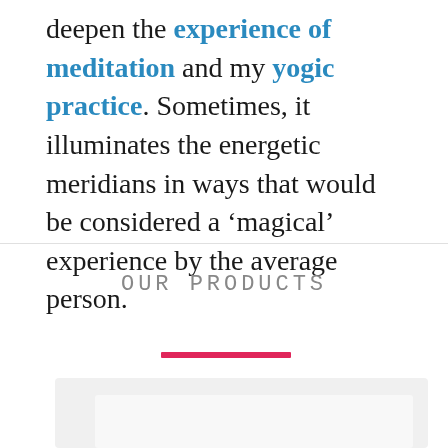deepen the experience of meditation and my yogic practice. Sometimes, it illuminates the energetic meridians in ways that would be considered a ‘magical’ experience by the average person.
OUR PRODUCTS